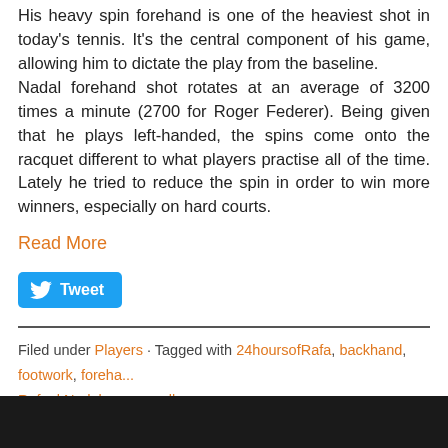His heavy spin forehand is one of the heaviest shot in today's tennis. It's the central component of his game, allowing him to dictate the play from the baseline. Nadal forehand shot rotates at an average of 3200 times a minute (2700 for Roger Federer). Being given that he plays left-handed, the spins come onto the racquet different to what players practise all of the time. Lately he tried to reduce the spin in order to win more winners, especially on hard courts.
Read More
[Figure (other): Twitter Tweet button — blue rounded button with bird icon and 'Tweet' text]
Filed under Players · Tagged with 24hoursofRafa, backhand, footwork, forehand, Rafael Nadal, serve, volley